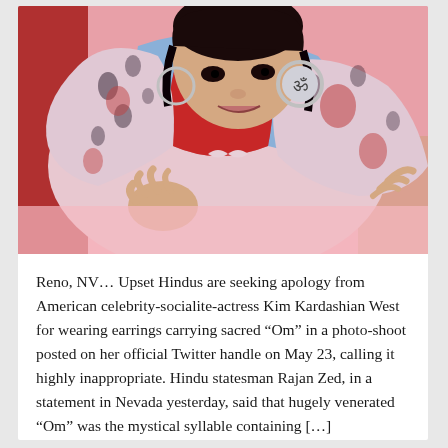[Figure (photo): A woman wearing a floral pink and red patterned outfit with a blue fur-trimmed collar, large Om symbol hoop earrings, lying on a pink surface in a fashion photo-shoot pose.]
Reno, NV… Upset Hindus are seeking apology from American celebrity-socialite-actress Kim Kardashian West for wearing earrings carrying sacred “Om” in a photo-shoot posted on her official Twitter handle on May 23, calling it highly inappropriate. Hindu statesman Rajan Zed, in a statement in Nevada yesterday, said that hugely venerated “Om” was the mystical syllable containing […]